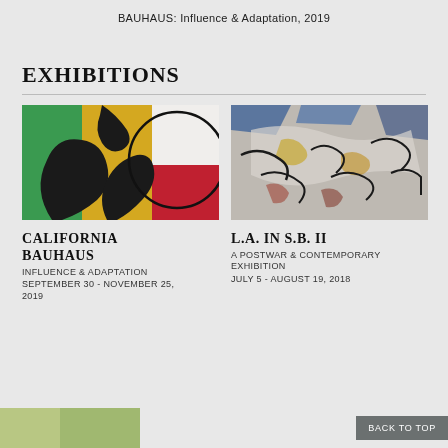BAUHAUS: Influence & Adaptation, 2019
EXHIBITIONS
[Figure (photo): Abstract sculpture with green, yellow, red/burgundy, white, and black curved layered shapes]
CALIFORNIA BAUHAUS
INFLUENCE & ADAPTATION
SEPTEMBER 30 - NOVEMBER 25, 2019
[Figure (photo): Abstract expressionist painting with layered brushstrokes in grays, blues, and earth tones with black marks]
L.A. IN S.B. II
A POSTWAR & CONTEMPORARY EXHIBITION
JULY 5 - AUGUST 19, 2018
BACK TO TOP